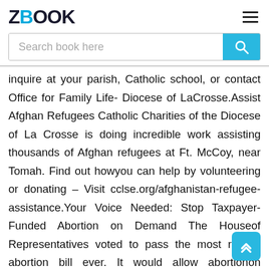ZBOOK
Search book here
inquire at your parish, Catholic school, or contact Office for Family Life- Diocese of LaCrosse.Assist Afghan Refugees Catholic Charities of the Diocese of La Crosse is doing incredible work assisting thousands of Afghan refugees at Ft. McCoy, near Tomah. Find out howyou can help by volunteering or donating – Visit cclse.org/afghanistan-refugee-assistance.Your Voice Needed: Stop Taxpayer-Funded Abortion on Demand The Houseof Representatives voted to pass the most radical abortion bill ever. It would allow abortionon demand nationwide throughout every stage of pregnancy and ban pro-life laws in everystate and local government, forcing Americans to support abortions with their tax dollars.Archbishop Joseph Naumann called